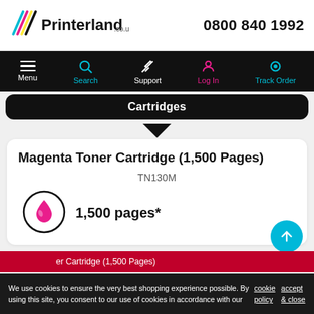[Figure (logo): Printerland.co.uk logo with colorful streaks on the left]
0800 840 1992
[Figure (screenshot): Navigation bar with Menu, Search, Support, Log In, Track Order icons on black background]
Cartridges
Magenta Toner Cartridge (1,500 Pages)
TN130M
[Figure (infographic): Circle icon with magenta toner drop, showing 1,500 pages*]
1,500 pages*
er Cartridge (1,500 Pages)
We use cookies to ensure the very best shopping experience possible. By using this site, you consent to our use of cookies in accordance with our cookie policy   accept & close